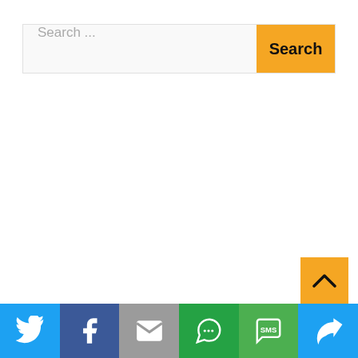[Figure (screenshot): Search bar with text field showing 'Search ...' placeholder and a yellow 'Search' button on the right]
[Figure (screenshot): Yellow scroll-to-top button with upward caret arrow, positioned bottom-right]
[Figure (infographic): Social sharing bar with six icons: Twitter (blue), Facebook (dark blue), Email (gray), WhatsApp (green), SMS (green), Share/rotate (light blue)]